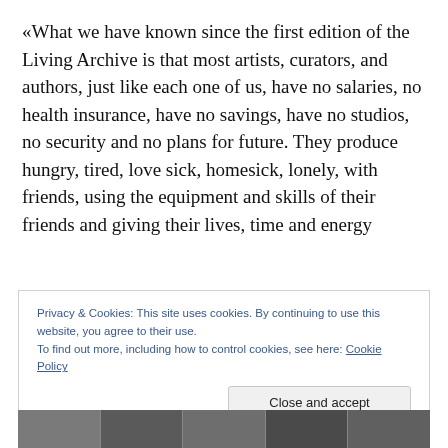«What we have known since the first edition of the Living Archive is that most artists, curators, and authors, just like each one of us, have no salaries, no health insurance, have no savings, have no studios, no security and no plans for future. They produce hungry, tired, love sick, homesick, lonely, with friends, using the equipment and skills of their friends and giving their lives, time and energy
Privacy & Cookies: This site uses cookies. By continuing to use this website, you agree to their use. To find out more, including how to control cookies, see here: Cookie Policy
[Figure (photo): A dark horizontal photo strip showing what appears to be an interior or architectural scene, partially visible at the bottom of the page.]